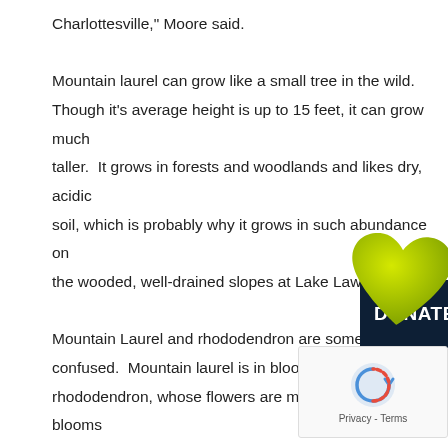Charlottesville," Moore said.

Mountain laurel can grow like a small tree in the wild. Though it's average height is up to 15 feet, it can grow much taller.  It grows in forests and woodlands and likes dry, acidic soil, which is probably why it grows in such abundance on the wooded, well-drained slopes at Lake Lawson.

Mountain Laurel and rhododendron are sometimes confused.  Mountain laurel is in bloom now and rhododendron, whose flowers are more azalea-like, blooms in early summer.

 For an added bonus, keep your eyes open for another sweet surprise.  Galax, also called beetleweed, is creeping along the forest floor on the trail edges in some places.
[Figure (illustration): Yellow-green heart shape icon overlaid on a dark navy donate banner with text DONATE NOW]